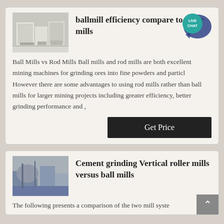ballmill efficiency compare to other mills
[Figure (photo): Industrial ball mill machinery in a factory setting]
Ball Mills vs Rod Mills Ball mills and rod mills are both excellent mining machines for grinding ores into fine powders and particl However there are some advantages to using rod mills rather than ball mills for larger mining projects including greater efficiency, better grinding performance and ,
Cement grinding Vertical roller mills versus ball mills
[Figure (photo): Cement grinding vertical roller mill equipment]
The following presents a comparison of the two mill syste